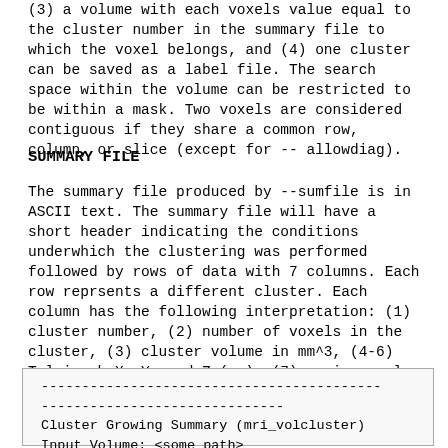(3) a volume with each voxels value equal to the cluster number in the summary file to which the voxel belongs, and (4) one cluster can be saved as a label file. The search space within the volume can be restricted to be within a mask. Two voxels are considered contiguous if they share a common row, column, or slice (except for --allowdiag).
SUMMARY FILE
The summary file produced by --sumfile is in ASCII text. The summary file will have a short header indicating the conditions underwhich the clustering was performed followed by rows of data with 7 columns. Each row reprsents a different cluster. Each column has the following interpretation: (1) cluster number, (2) number of voxels in the cluster, (3) cluster volume in mm^3, (4-6) Talairach X, Y, and Z (mm), (7) maximum value inside the cluster. The Talairach coordinates are the 'true' coordinates (not MNI). Part of a summary file is shown below as an example:
[Figure (other): Code box showing beginning of a cluster growing summary file with dashed lines and 'Cluster Growing Summary (mri_volcluster)' header text]